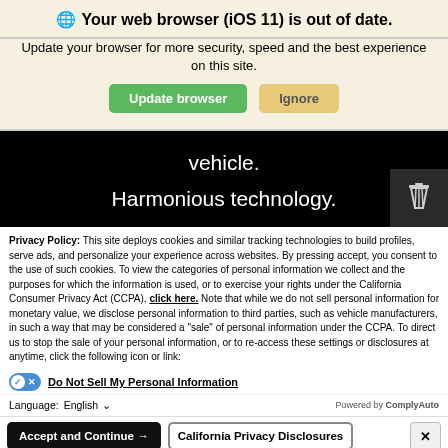🌐 Your web browser (iOS 11) is out of date.
Update your browser for more security, speed and the best experience on this site.
vehicle.
Harmonious technology.
Privacy Policy: This site deploys cookies and similar tracking technologies to build profiles, serve ads, and personalize your experience across websites. By pressing accept, you consent to the use of such cookies. To view the categories of personal information we collect and the purposes for which the information is used, or to exercise your rights under the California Consumer Privacy Act (CCPA), click here. Note that while we do not sell personal information for monetary value, we disclose personal information to third parties, such as vehicle manufacturers, in such a way that may be considered a "sale" of personal information under the CCPA. To direct us to stop the sale of your personal information, or to re-access these settings or disclosures at anytime, click the following icon or link:
Do Not Sell My Personal Information
Language:  English  ∨  Powered by ComplyAuto